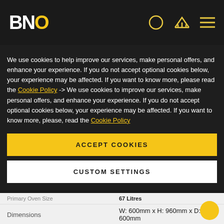[Figure (logo): BNO logo in white and yellow on dark background with nav icons]
We use cookies to help improve our services, make personal offers, and enhance your experience. If you do not accept optional cookies below, your experience may be affected. If you want to know more, please read the Cookie Policy -> We use cookies to improve our services, make personal offers, and enhance your experience. If you do not accept optional cookies below, your experience may be affected. If you want to know more, please, read the Cookie Policy
ACCEPT COOKIES
CUSTOM SETTINGS
| Primary Oven Size | 67 Litres |
| Dimensions | W: 600mm x H: 960mm x D: 600mm |